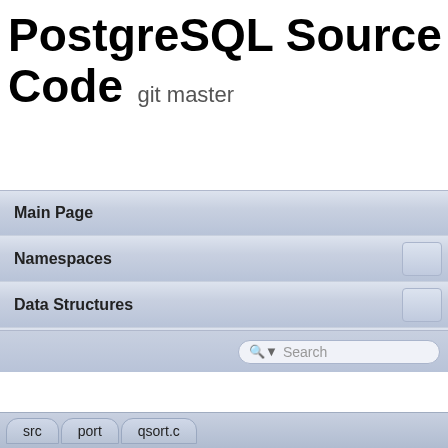PostgreSQL Source Code  git master
Main Page
Namespaces
Data Structures
Files
qsort.c File Reference
Macros | Functions
#include "c.h"
src  port  qsort.c